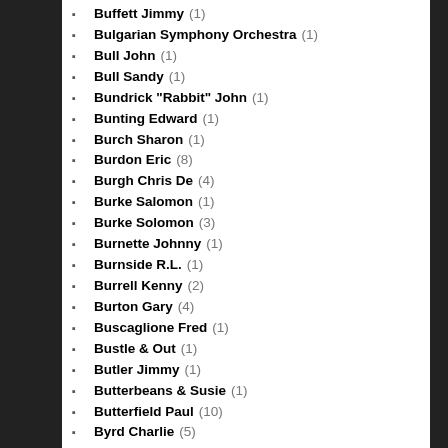Buffett Jimmy (1)
Bulgarian Symphony Orchestra (1)
Bull John (1)
Bull Sandy (1)
Bundrick "Rabbit" John (1)
Bunting Edward (1)
Burch Sharon (1)
Burdon Eric (8)
Burgh Chris De (4)
Burke Salomon (1)
Burke Solomon (3)
Burnette Johnny (1)
Burnside R.L. (1)
Burrell Kenny (2)
Burton Gary (4)
Buscaglione Fred (1)
Bustle & Out (1)
Butler Jimmy (1)
Butterbeans & Susie (1)
Butterfield Paul (10)
Byrd Charlie (5)